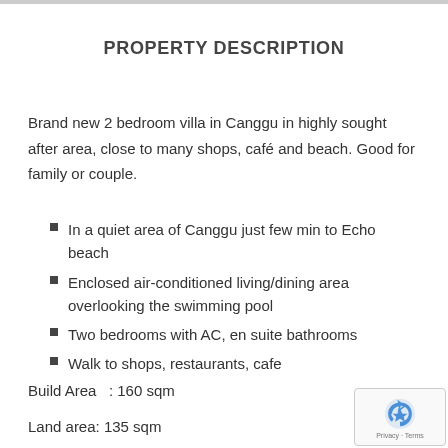PROPERTY DESCRIPTION
Brand new 2 bedroom villa in Canggu in highly sought after area, close to many shops, café and beach. Good for family or couple.
In a quiet area of Canggu just few min to Echo beach
Enclosed air-conditioned living/dining area overlooking the swimming pool
Two bedrooms with AC, en suite bathrooms
Walk to shops, restaurants, cafe
Build Area   : 160 sqm
Land area: 135 sqm